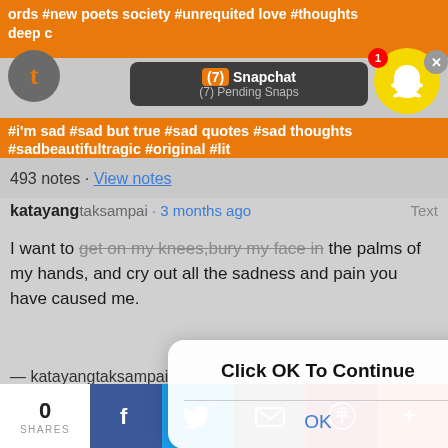#new poets society #unrequited love #thoughts #deep #i'm sad #sad but true #sad quotes #sad thoughts #sadbeautifultragic #original #lit
[Figure (screenshot): Snapchat app notification bar showing '(7) Snapchat' and '(7) Pending Snaps' with Snapchat ghost icon with badge showing 1]
493 notes · View notes
katayangtaksampai · 3 months ago  Text
I want to get on my knees, bury my face in the palms of my hands, and cry out all the sadness and pain you have caused me.
— katayangtaksampai.
[Figure (screenshot): Modal dialog box with text 'Click OK To Continue' and an OK button]
0 SHARES
Facebook share button, Twitter share button, Email share button, Pinterest share button, More share button